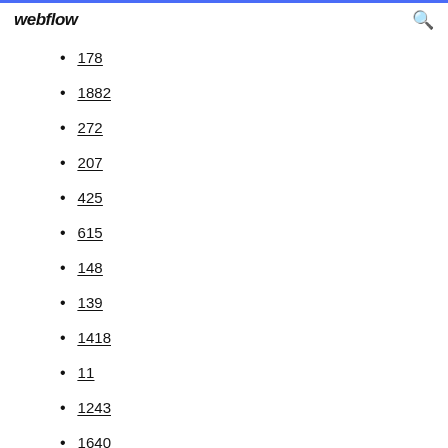webflow
178
1882
272
207
425
615
148
139
1418
11
1243
1640